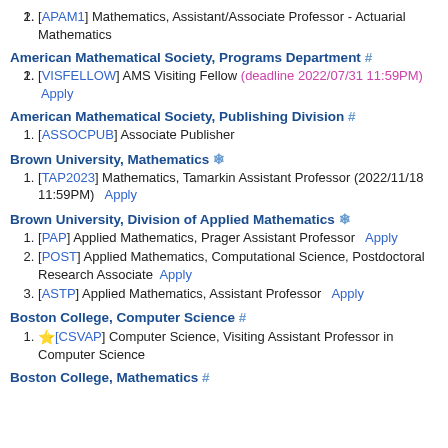[APAM1] Mathematics, Assistant/Associate Professor - Actuarial Mathematics
American Mathematical Society, Programs Department #
[VISFELLOW] AMS Visiting Fellow (deadline 2022/07/31 11:59PM) Apply
American Mathematical Society, Publishing Division #
[ASSOCPUB] Associate Publisher
Brown University, Mathematics *
[TAP2023] Mathematics, Tamarkin Assistant Professor (2022/11/18 11:59PM)  Apply
Brown University, Division of Applied Mathematics *
[PAP] Applied Mathematics, Prager Assistant Professor  Apply
[POST] Applied Mathematics, Computational Science, Postdoctoral Research Associate  Apply
[ASTP] Applied Mathematics, Assistant Professor  Apply
Boston College, Computer Science #
[CSVAP] Computer Science, Visiting Assistant Professor in Computer Science
Boston College, Mathematics #